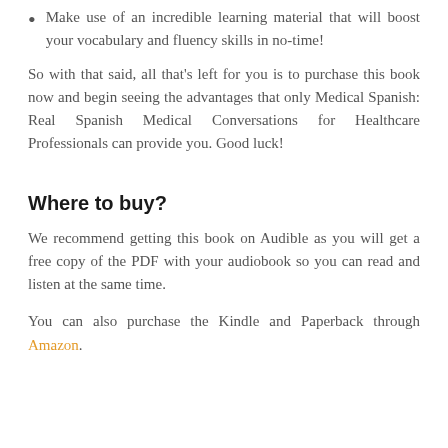Make use of an incredible learning material that will boost your vocabulary and fluency skills in no-time!
So with that said, all that's left for you is to purchase this book now and begin seeing the advantages that only Medical Spanish: Real Spanish Medical Conversations for Healthcare Professionals can provide you. Good luck!
Where to buy?
We recommend getting this book on Audible as you will get a free copy of the PDF with your audiobook so you can read and listen at the same time.
You can also purchase the Kindle and Paperback through Amazon.